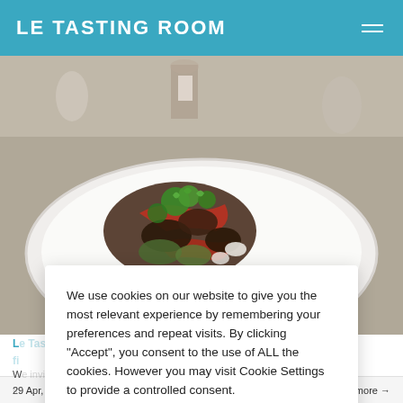LE TASTING ROOM
[Figure (photo): Food photo showing a white plate with a colorful dish featuring vegetables, herbs including cilantro, and various cooked ingredients on a restaurant table]
L... y fi...
We use cookies on our website to give you the most relevant experience by remembering your preferences and repeat visits. By clicking “Accept”, you consent to the use of ALL the cookies. However you may visit Cookie Settings to provide a controlled consent.
Cookie settings    ACCEPT
29 Apr, 2020    Read more →